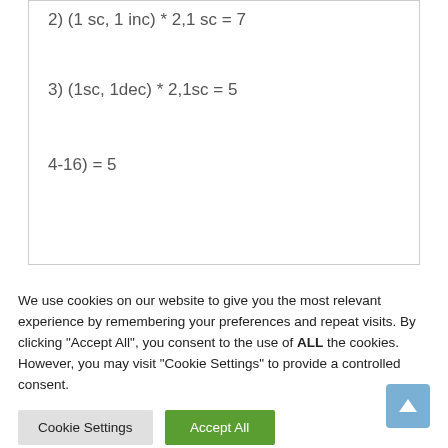2) (1 sc, 1 inc) * 2,1 sc = 7
3) (1sc, 1dec) * 2,1sc = 5
4-16) = 5
We use cookies on our website to give you the most relevant experience by remembering your preferences and repeat visits. By clicking “Accept All”, you consent to the use of ALL the cookies. However, you may visit "Cookie Settings" to provide a controlled consent.